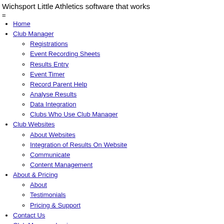Wichsport Little Athletics software that works
=
Home
Club Manager
Registrations
Event Recording Sheets
Results Entry
Event Timer
Record Parent Help
Analyse Results
Data Integration
Clubs Who Use Club Manager
Club Websites
About Websites
Integration of Results On Website
Communicate
Content Management
About & Pricing
About
Testimonials
Pricing & Support
Contact Us
Club Manager Login
Wichsport Little Athletics